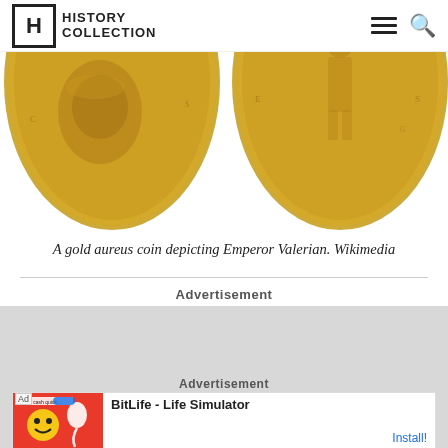History Collection
[Figure (photo): Two gold aureus coins depicting Emperor Valerian — obverse showing portrait bust and reverse showing standing figure — partially cropped at top]
A gold aureus coin depicting Emperor Valerian. Wikimedia
Advertisement
[Figure (other): Gray advertisement placeholder block]
Advertisement
[Figure (screenshot): BitLife - Life Simulator app advertisement with red background featuring animated characters and sperm emoji icon, Install button]